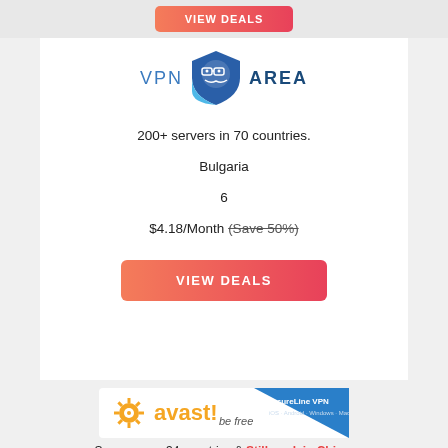[Figure (logo): VIEW DEALS button at top, coral/red gradient]
[Figure (logo): VPN Area logo with shield mascot wearing glasses]
200+ servers in 70 countries.
Bulgaria
6
$4.18/Month (Save 50%)
[Figure (other): VIEW DEALS button, coral/red gradient]
[Figure (logo): Avast SecureLine VPN logo banner - be free, iOS Android Windows Mac]
Servers over 34 countries & Still work in China.